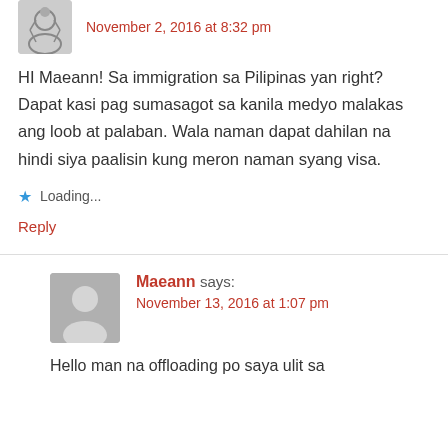November 2, 2016 at 8:32 pm
HI Maeann! Sa immigration sa Pilipinas yan right? Dapat kasi pag sumasagot sa kanila medyo malakas ang loob at palaban. Wala naman dapat dahilan na hindi siya paalisin kung meron naman syang visa.
Loading...
Reply
Maeann says:
November 13, 2016 at 1:07 pm
Hello man na offloading po saya ulit sa